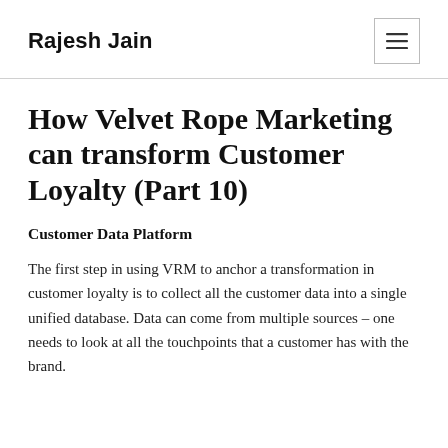Rajesh Jain
How Velvet Rope Marketing can transform Customer Loyalty (Part 10)
Customer Data Platform
The first step in using VRM to anchor a transformation in customer loyalty is to collect all the customer data into a single unified database. Data can come from multiple sources – one needs to look at all the touchpoints that a customer has with the brand.